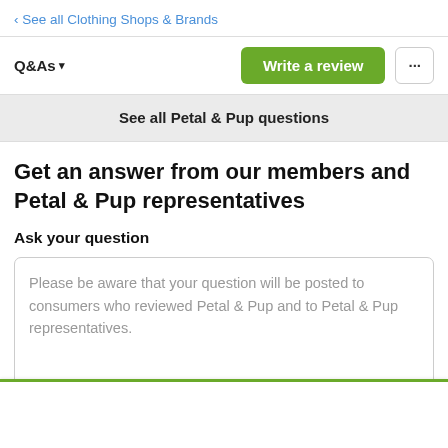‹ See all Clothing Shops & Brands
Q&As ▾
Write a review
...
See all Petal & Pup questions
Get an answer from our members and Petal & Pup representatives
Ask your question
Please be aware that your question will be posted to consumers who reviewed Petal & Pup and to Petal & Pup representatives.